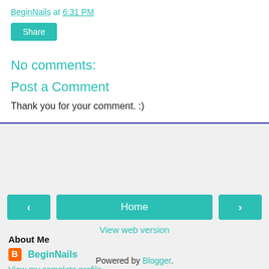BeginNails at 6:31 PM
Share
No comments:
Post a Comment
Thank you for your comment. :)
‹  Home  ›
View web version
About Me
BeginNails
View my complete profile
Powered by Blogger.